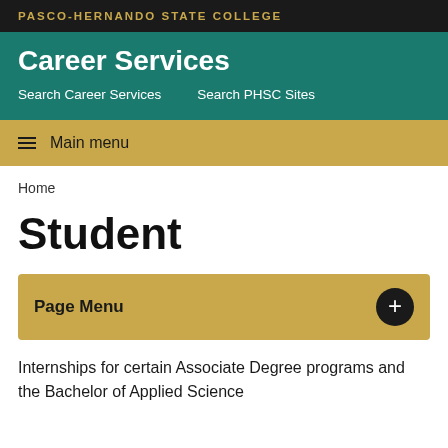PASCO-HERNANDO STATE COLLEGE
Career Services
Search Career Services    Search PHSC Sites
≡ Main menu
Home
Student
Page Menu +
Internships for certain Associate Degree programs and the Bachelor of Applied Science